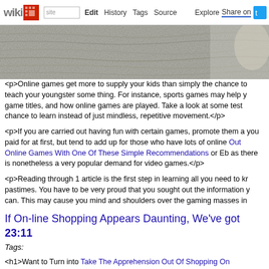wikidot | site | Edit | History | Tags | Source | Explore | Share on Twitter
[Figure (photo): Banner image showing wood grain texture in grey tones]
<p>Online games get more to supply your kids than simply the chance to teach your youngster some thing. For instance, sports games may help you game titles, and how online games are played. Take a look at some test chance to learn instead of just mindless, repetitive movement.</p>
<p>If you are carried out having fun with certain games, promote them a you paid for at first, but tend to add up for those who have lots of online Out Online Games With One Of These Simple Recommendations or Eba as there is nonetheless a very popular demand for video games.</p>
<p>Reading through 1 article is the first step in learning all you need to kr pastimes. You have to be very proud that you sought out the information you can. This may cause you mind and shoulders over the gaming masses in</p>
If On-line Shopping Appears Daunting, We've go 23:11
Tags:
<h1>Want to Turn into Take The Apprehension Out Of Shopping On Piece</h1>
<p>Saving money is important in this financial system. While all of us ha